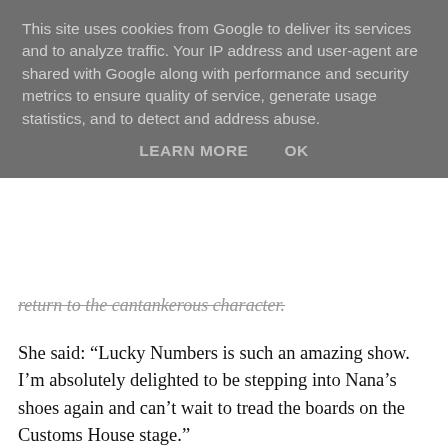This site uses cookies from Google to deliver its services and to analyze traffic. Your IP address and user-agent are shared with Google along with performance and security metrics to ensure quality of service, generate usage statistics, and to detect and address abuse.
LEARN MORE   OK
return to the cantankerous character.
She said: “Lucky Numbers is such an amazing show. I’m absolutely delighted to be stepping into Nana’s shoes again and can’t wait to tread the boards on the Customs House stage.”
The new production is being brought to the stage by award-winning director Michael Strassen, who already holds a series of accolades, including Best Director and Best Production in the Off West End Theatre Awards,